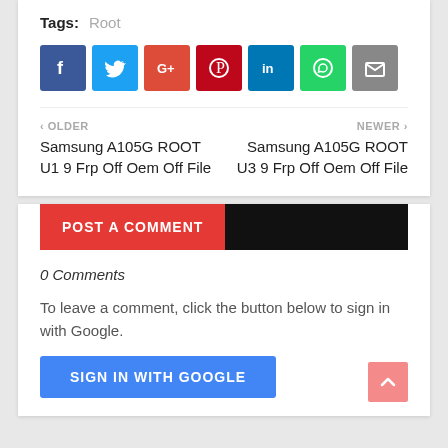Tags: Root
[Figure (infographic): Social share icons: Facebook, Twitter, Google+, Pinterest, LinkedIn, WhatsApp, Email]
< OLDER
Samsung A105G ROOT U1 9 Frp Off Oem Off File
NEWER >
Samsung A105G ROOT U3 9 Frp Off Oem Off File
POST A COMMENT
0 Comments
To leave a comment, click the button below to sign in with Google.
SIGN IN WITH GOOGLE